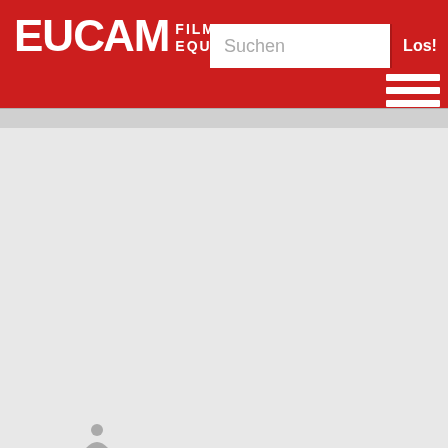EUCAM FILM EQUIPMENT
[Figure (screenshot): EUCAM Film Equipment website header with red background, logo showing 'EUCAM' in white bold text with 'FILM' and 'EQU...' subtitle, a search bar with placeholder text 'Suchen' and a red 'Los!' button, and a hamburger menu icon with three white horizontal lines in the lower right of the header. Below the header is a navigation strip and then a light grey empty content area.]